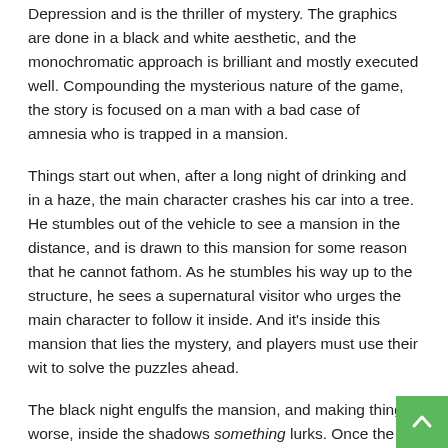Depression and is the thriller of mystery. The graphics are done in a black and white aesthetic, and the monochromatic approach is brilliant and mostly executed well. Compounding the mysterious nature of the game, the story is focused on a man with a bad case of amnesia who is trapped in a mansion.
Things start out when, after a long night of drinking and in a haze, the main character crashes his car into a tree. He stumbles out of the vehicle to see a mansion in the distance, and is drawn to this mansion for some reason that he cannot fathom. As he stumbles his way up to the structure, he sees a supernatural visitor who urges the main character to follow it inside. And it's inside this mansion that lies the mystery, and players must use their wit to solve the puzzles ahead.
The black night engulfs the mansion, and making things worse, inside the shadows something lurks. Once the main character makes his way into the house, he finds that the lights don't seem to work and the only way to get around is by lighting matches. Players will be able to see objects and clues strewn throughout the house by this dim match light, which is necessary to forge ahead.